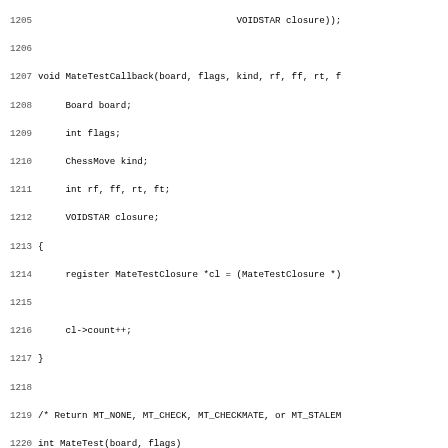[Figure (other): Source code listing in C, lines 1205-1236+, showing MateTestCallback and MateTest functions for a chess program. Code includes variable declarations, a register pointer assignment, count increment, nested loops, and piece counting logic.]